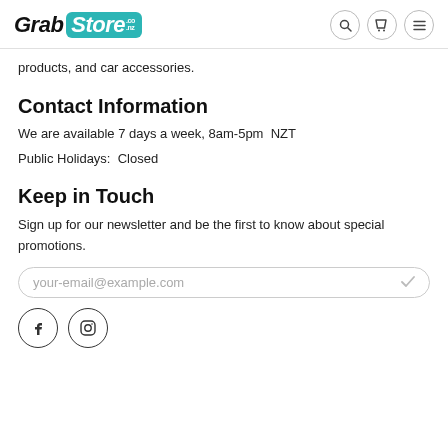GrabStore.co.nz — navigation header with search, cart, and menu icons
products, and car accessories.
Contact Information
We are available 7 days a week, 8am-5pm  NZT
Public Holidays:  Closed
Keep in Touch
Sign up for our newsletter and be the first to know about special promotions.
[Figure (other): Email input field with placeholder text 'your-email@example.com' and a checkmark icon]
[Figure (other): Social media icons: Facebook and Instagram, each in a circle outline]